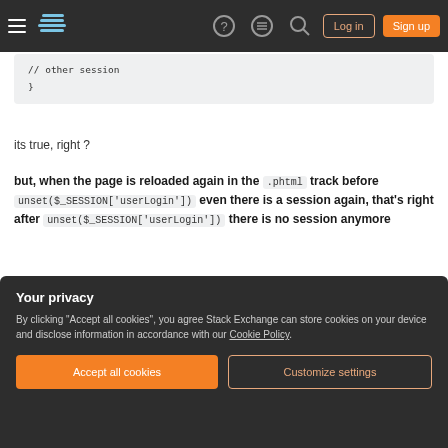Stack Exchange navigation bar with Log in and Sign up buttons
// other session
}
its true, right ?
but, when the page is reloaded again in the .phtml track before unset($_SESSION['userLogin']) even there is a session again, that's right after unset($_SESSION['userLogin']) there is no session anymore
Your privacy
By clicking "Accept all cookies", you agree Stack Exchange can store cookies on your device and disclose information in accordance with our Cookie Policy.
Accept all cookies
Customize settings